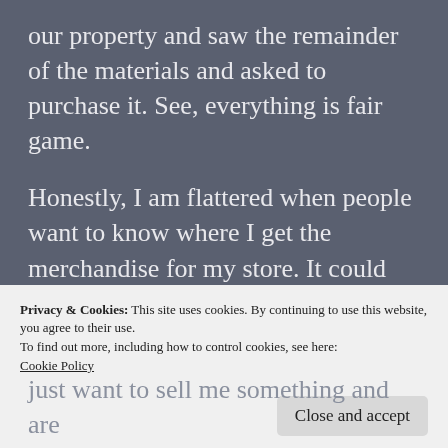our property and saw the remainder of the materials and asked to purchase it.  See, everything is fair game.
Honestly, I am flattered when people want to know where I get the merchandise for my store. It could mean that they appreciate the uniqueness of the items sold or it could mean that they like the various pieces and wish they could find things like this on their own. Perhaps jealousy comes in to play, and it is
Privacy & Cookies: This site uses cookies. By continuing to use this website, you agree to their use.
To find out more, including how to control cookies, see here: Cookie Policy
just want to sell me something and are